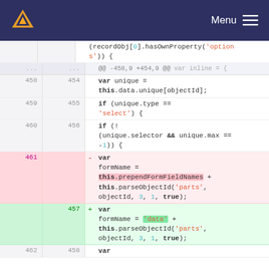Menu (navigation bar with logo)
[Figure (screenshot): Code diff view showing JavaScript code changes. Lines 458-460 (normal), hunk header, then deleted line 461 and added line 457 with variable formName assignment changes.]